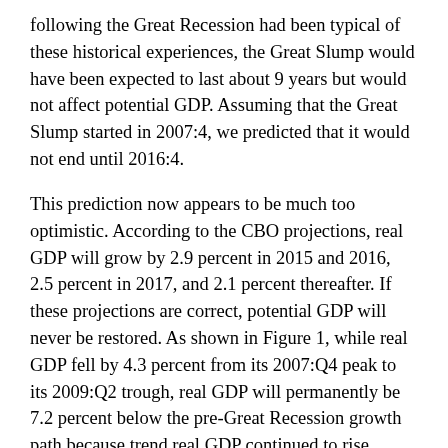following the Great Recession had been typical of these historical experiences, the Great Slump would have been expected to last about 9 years but would not affect potential GDP. Assuming that the Great Slump started in 2007:4, we predicted that it would not end until 2016:4.
This prediction now appears to be much too optimistic. According to the CBO projections, real GDP will grow by 2.9 percent in 2015 and 2016, 2.5 percent in 2017, and 2.1 percent thereafter. If these projections are correct, potential GDP will never be restored. As shown in Figure 1, while real GDP fell by 4.3 percent from its 2007:Q4 peak to its 2009:Q2 trough, real GDP will permanently be 7.2 percent below the pre-Great Recession growth path because trend real GDP continued to rise during the recession.
In his discussion of our paper at the Boston Fed conference, Jeremy Piger proposed a model of "purely permanent recessions" with a negative intercept break, but no